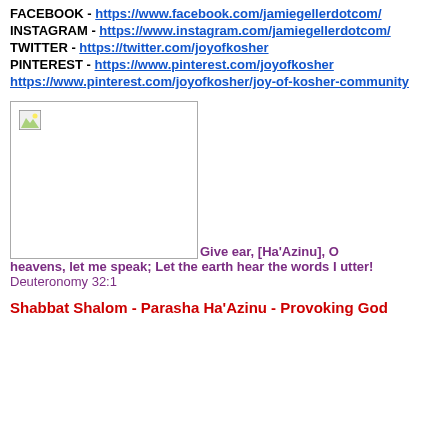FACEBOOK - https://www.facebook.com/jamiegellerdotcom/
INSTAGRAM - https://www.instagram.com/jamiegellerdotcom/
TWITTER - https://twitter.com/joyofkosher
PINTEREST - https://www.pinterest.com/joyofkosher
https://www.pinterest.com/joyofkosher/joy-of-kosher-community
[Figure (photo): Broken image placeholder with small icon in top-left corner]
Give ear, [Ha'Azinu], O heavens, let me speak; Let the earth hear the words I utter! Deuteronomy 32:1
Shabbat Shalom - Parasha Ha'Azinu - Provoking God